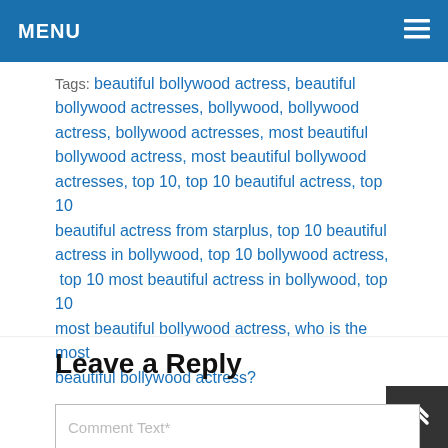MENU
Tags: beautiful bollywood actress, beautiful bollywood actresses, bollywood, bollywood actress, bollywood actresses, most beautiful bollywood actress, most beautiful bollywood actresses, top 10, top 10 beautiful actress, top 10 beautiful actress from starplus, top 10 beautiful actress in bollywood, top 10 bollywood actress, top 10 most beautiful actress in bollywood, top 10 most beautiful bollywood actress, who is the most beautiful bollywood actress?
Leave a Reply
Comment Text*